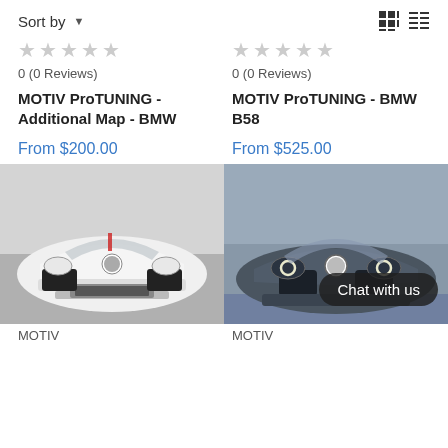Sort by
0 (0 Reviews)
MOTIV ProTUNING - Additional Map - BMW
From $200.00
0 (0 Reviews)
MOTIV ProTUNING - BMW B58
From $525.00
[Figure (photo): Front view of a white BMW race car with aftermarket front splitter and intercooler visible]
[Figure (photo): Front view of a dark grey BMW sedan with angel eye headlights, with Chat with us overlay]
MOTIV
MOTIV